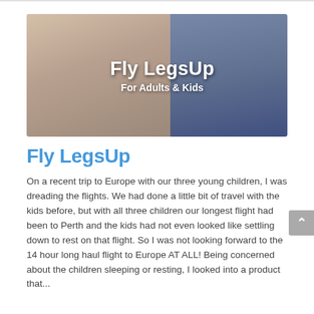[Figure (photo): Banner image showing a sleeping child on an airplane seat with text overlay 'Fly LegsUp For Adults & Kids']
Fly LegsUp
On a recent trip to Europe with our three young children, I was dreading the flights. We had done a little bit of travel with the kids before, but with all three children our longest flight had been to Perth and the kids had not even looked like settling down to rest on that flight. So I was not looking forward to the 14 hour long haul flight to Europe AT ALL! Being concerned about the children sleeping or resting, I looked into a product that...